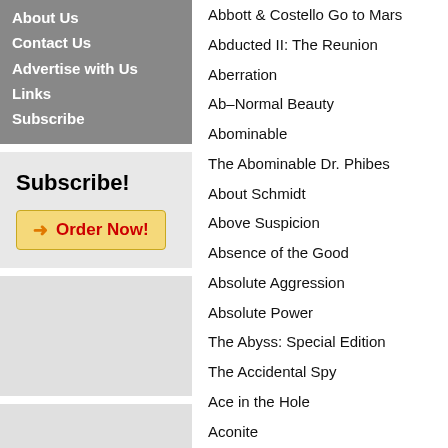Contact Us
Advertise with Us
Links
Subscribe
Subscribe!
Order Now!
Abbott & Costello Go to Mars
Abducted II: The Reunion
Aberration
Ab–Normal Beauty
Abominable
The Abominable Dr. Phibes
About Schmidt
Above Suspicion
Absence of the Good
Absolute Aggression
Absolute Power
The Abyss: Special Edition
The Accidental Spy
Ace in the Hole
Aconite
Across the Universe
Act of Vengeance
Acting on Impulse